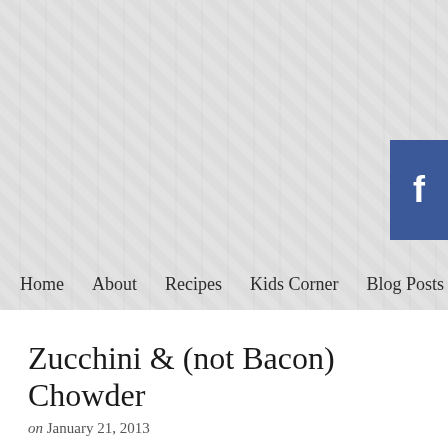[Figure (screenshot): Website header with diagonal striped gray background pattern and a Facebook button in the top right corner]
Home   About   Recipes   Kids Corner   Blog Posts   Me
Zucchini & (not Bacon) Chowder
on January 21, 2013